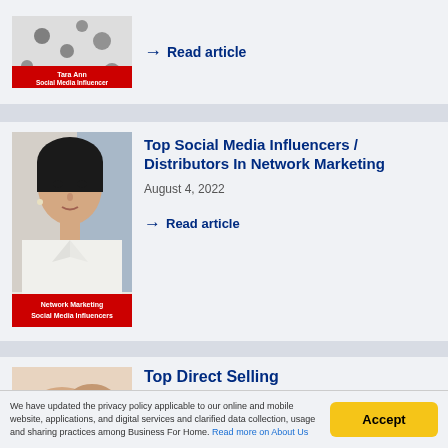[Figure (photo): Partial photo of woman in polka dot outfit with red label 'Tara Ann Social Media Influencer']
→ Read article
[Figure (photo): Photo of woman with dark hair in white outfit with red label 'Network Marketing Social Media Influencers']
Top Social Media Influencers / Distributors In Network Marketing
August 4, 2022
→ Read article
[Figure (photo): Partial photo with hands visible]
Top Direct Selling
We have updated the privacy policy applicable to our online and mobile website, applications, and digital services and clarified data collection, usage and sharing practices among Business For Home. Read more on About Us